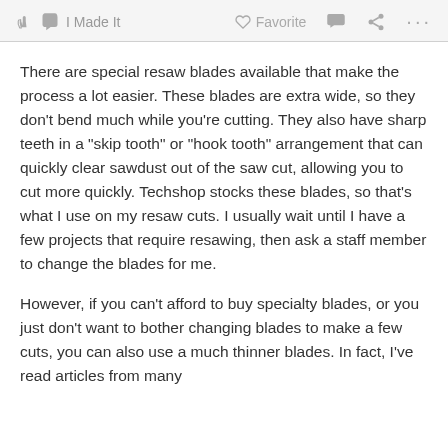I Made It   Favorite   ... ...
There are special resaw blades available that make the process a lot easier. These blades are extra wide, so they don't bend much while you're cutting. They also have sharp teeth in a "skip tooth" or "hook tooth" arrangement that can quickly clear sawdust out of the saw cut, allowing you to cut more quickly. Techshop stocks these blades, so that's what I use on my resaw cuts.  I usually wait until I have a few projects that require resawing, then ask a staff member to change the blades for me.
However, if you can't afford to buy specialty blades, or you just don't want to bother changing blades to make a few cuts, you can also use a much thinner blades. In fact, I've read articles from many